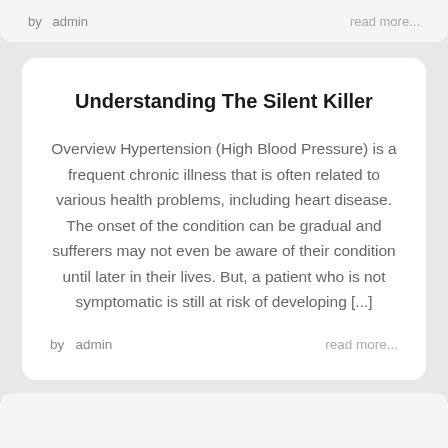by  admin    read more...
Understanding The Silent Killer
Overview Hypertension (High Blood Pressure) is a frequent chronic illness that is often related to various health problems, including heart disease. The onset of the condition can be gradual and sufferers may not even be aware of their condition until later in their lives. But, a patient who is not symptomatic is still at risk of developing [...]
by  admin    read more...